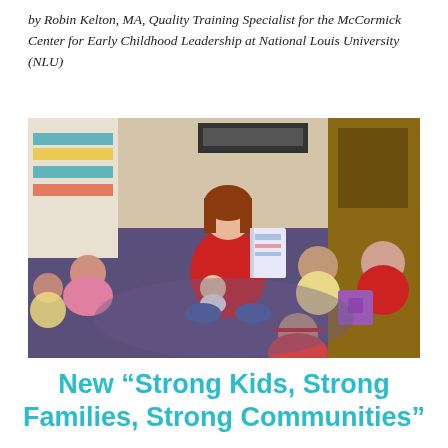by Robin Kelton, MA, Quality Training Specialist for the McCormick Center for Early Childhood Leadership at National Louis University (NLU)
[Figure (photo): A teacher in a red sweater sits cross-legged on a purple rug holding a baby and reading a book to a group of young children seated in a circle in a colorful classroom.]
New “Strong Kids, Strong Families, Strong Communities”